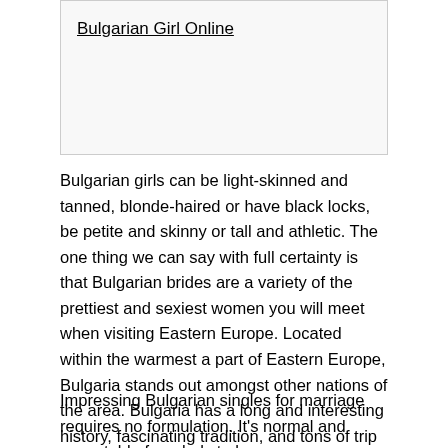Bulgarian Girl Online
Bulgarian girls can be light-skinned and tanned, blonde-haired or have black locks, be petite and skinny or tall and athletic. The one thing we can say with full certainty is that Bulgarian brides are a variety of the prettiest and sexiest women you will meet when visiting Eastern Europe. Located within the warmest a part of Eastern Europe, Bulgaria stands out amongst other nations of the area. Bulgaria has a long and interesting history, fascinating tradition, and tons of trip spots. If you may have by no means given much thought to Bulgaria, right here is why you will want to at least think about the beautiful Bulgarian women for marriage.
Impressing Bulgarian singles for marriage requires no formulation. It's normal and acceptable for a lady to be